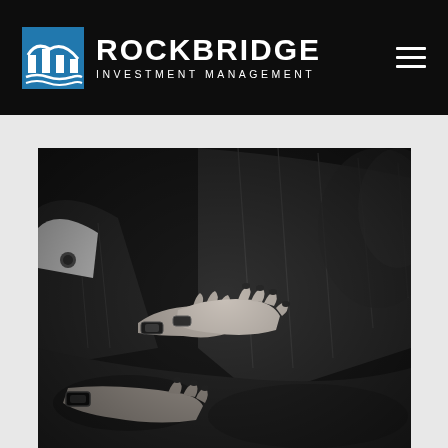ROCKBRIDGE INVESTMENT MANAGEMENT
[Figure (photo): Black and white photograph of elderly couple holding hands while seated, showing their intertwined hands and laps. The man wears a pinstripe suit and a watch; the woman has dark nail polish. A cufflink is visible on the left side.]